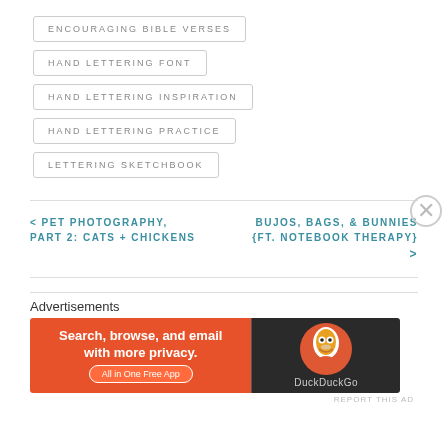ENCOURAGING BIBLE VERSES
HAND LETTERING FONT
HAND LETTERING INSPIRATION
HAND LETTERING PRACTICE
LETTERING SKETCHBOOK
< PET PHOTOGRAPHY, PART 2: CATS + CHICKENS
BUJOS, BAGS, & BUNNIES {FT. NOTEBOOK THERAPY} >
Advertisements
[Figure (screenshot): DuckDuckGo advertisement banner: 'Search, browse, and email with more privacy. All in One Free App' with DuckDuckGo logo on dark background]